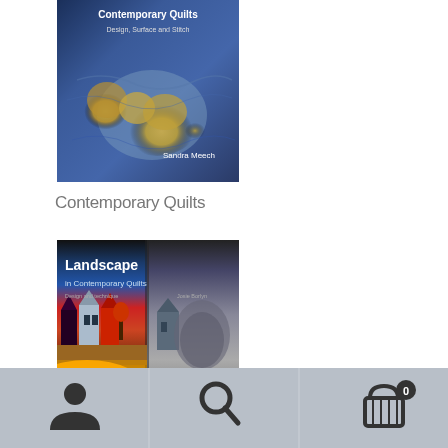[Figure (photo): Book cover of 'Contemporary Quilts: Design, Surface and Stitch' by Sandra Meech. Blue textured quilt with golden/tan organic shapes on the cover.]
Contemporary Quilts
[Figure (photo): Book cover of 'Landscape in Contemporary Quilts: Design and technique' by Josie Bollin. Dark top with colorful quilt landscape scenes of houses, trees, and fields in bright reds, blues, yellows and oranges.]
[Figure (infographic): Bottom navigation bar with user icon, search icon, and shopping cart icon with badge showing 0]